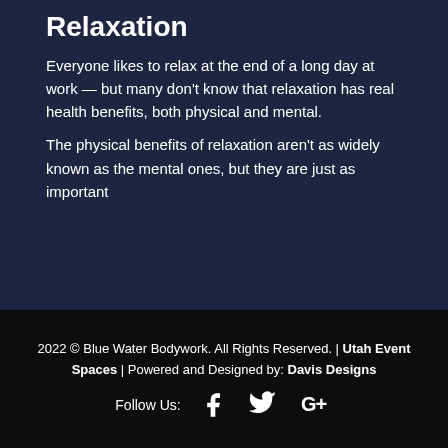Relaxation
Everyone likes to relax at the end of a long day at work — but many don't know that relaxation has real health benefits, both physical and mental.
The physical benefits of relaxation aren't as widely known as the mental ones, but they are just as important
2022 © Blue Water Bodywork. All Rights Reserved. | Utah Event Spaces | Powered and Designed by: Davis Designs
Follow Us: